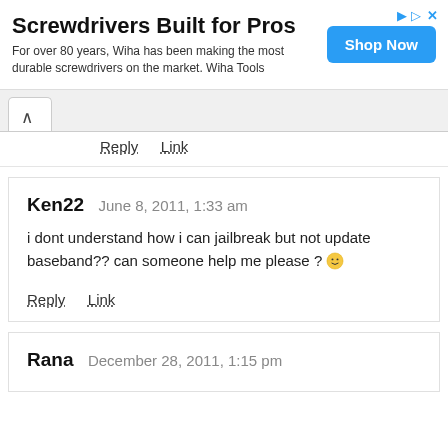[Figure (other): Advertisement banner: 'Screwdrivers Built for Pros' by Wiha Tools with 'Shop Now' blue button]
Reply   Link
Ken22   June 8, 2011, 1:33 am
i dont understand how i can jailbreak but not update baseband?? can someone help me please ? 🙂
Reply   Link
Rana   December 28, 2011, 1:15 pm